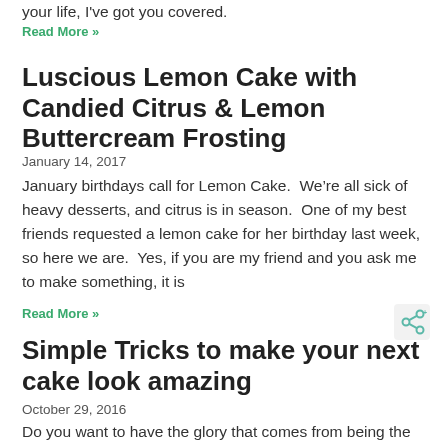your life, I've got you covered.
Read More »
Luscious Lemon Cake with Candied Citrus & Lemon Buttercream Frosting
January 14, 2017
January birthdays call for Lemon Cake.  We're all sick of heavy desserts, and citrus is in season.  One of my best friends requested a lemon cake for her birthday last week, so here we are.  Yes, if you are my friend and you ask me to make something, it is
Read More »
Simple Tricks to make your next cake look amazing
October 29, 2016
Do you want to have the glory that comes from being the person